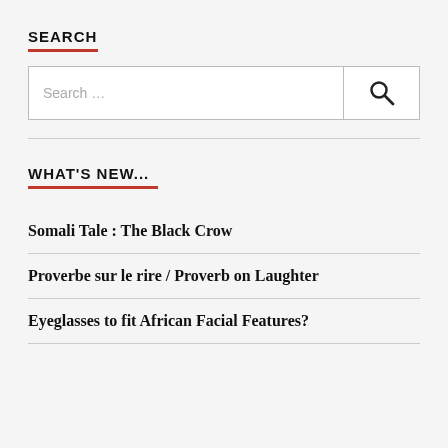SEARCH
[Figure (other): Search input box with placeholder text 'Search ...' and a search icon button on the right]
WHAT'S NEW...
Somali Tale : The Black Crow
Proverbe sur le rire / Proverb on Laughter
Eyeglasses to fit African Facial Features?